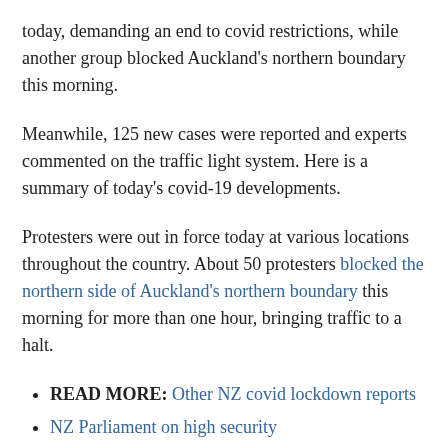today, demanding an end to covid restrictions, while another group blocked Auckland's northern boundary this morning.
Meanwhile, 125 new cases were reported and experts commented on the traffic light system. Here is a summary of today's covid-19 developments.
Protesters were out in force today at various locations throughout the country. About 50 protesters blocked the northern side of Auckland's northern boundary this morning for more than one hour, bringing traffic to a halt.
READ MORE: Other NZ covid lockdown reports
NZ Parliament on high security
One bit a police officer, and police had to tow a number of vehicles out of the way, and physically move protesters off the